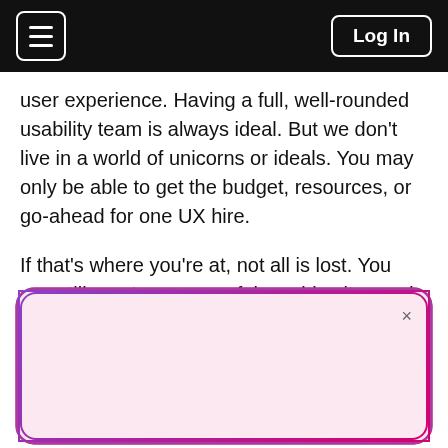☰  Log In
user experience. Having a full, well-rounded usability team is always ideal. But we don't live in a world of unicorns or ideals. You may only be able to get the budget, resources, or go-ahead for one UX hire.
If that's where you're at, not all is lost. You can still create more useful, usable sites and apps with a single, strategic UX hire. To make this work, you'll need to focus less on one person t
U
a
A
Organizing an event?
Publish your own event site with Emamo.
Create Event